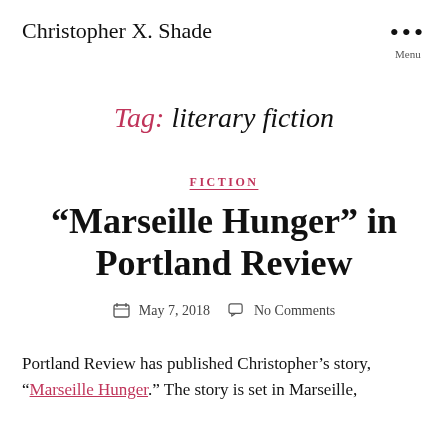Christopher X. Shade
Tag: literary fiction
FICTION
“Marseille Hunger” in Portland Review
May 7, 2018  No Comments
Portland Review has published Christopher’s story, “Marseille Hunger.” The story is set in Marseille,